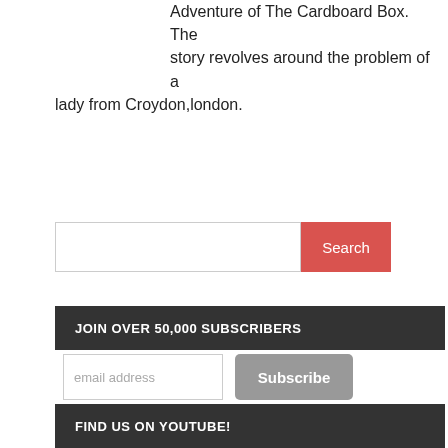Adventure of The Cardboard Box. The story revolves around the problem of a lady from Croydon,london.
[Figure (screenshot): Search bar with text input field and red Search button]
JOIN OVER 50,000 SUBSCRIBERS
[Figure (screenshot): Email address input field with Subscribe button]
Subscribe Me To:
Daily Knowledge
Weekly Wrap
FIND US ON YOUTUBE!